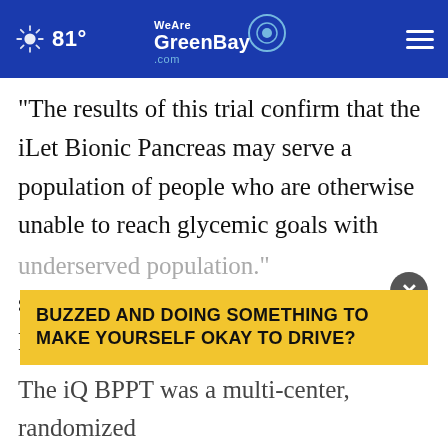81° WeAreGreenBay.com
“The results of this trial confirm that the iLet Bionic Pancreas may serve a population of people who are otherwise unable to reach glycemic goals with currently available diabetes technology,” said Jeanne Jacoby, FNP, CDCES, Director of Medical Affairs, Beta Bionics. “As a medical professional and a person with diabetes, I look forward to us being able to offer a solution that may change the lives of this underserved population.”
[Figure (screenshot): Yellow advertisement overlay banner reading 'BUZZED AND DOING SOMETHING TO MAKE YOURSELF OKAY TO DRIVE?' with a close (X) button]
The iQ BPPT was a multi-center, randomized